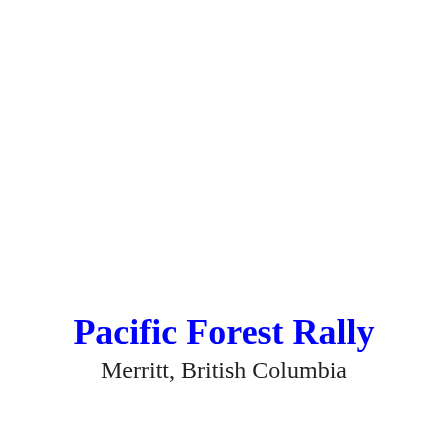Pacific Forest Rally
Merritt, British Columbia